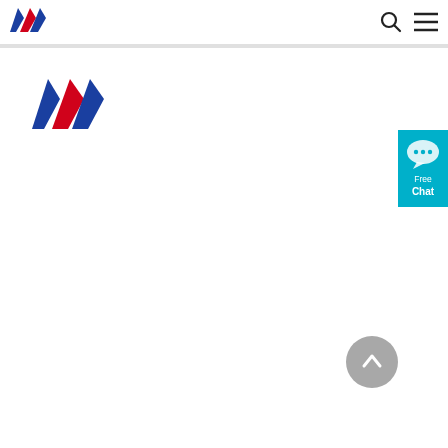[Figure (logo): Air Mauritius logo (small) in the navigation bar - stylized 'AM' in blue and red]
[Figure (logo): Search icon (magnifying glass) in navigation bar]
[Figure (logo): Hamburger menu icon in navigation bar]
[Figure (logo): Air Mauritius logo (large) - stylized 'AM' in blue and red]
[Figure (infographic): Free Chat widget - cyan/teal button with chat bubble icon on the right side]
[Figure (other): Grey circular back-to-top arrow button at bottom right]